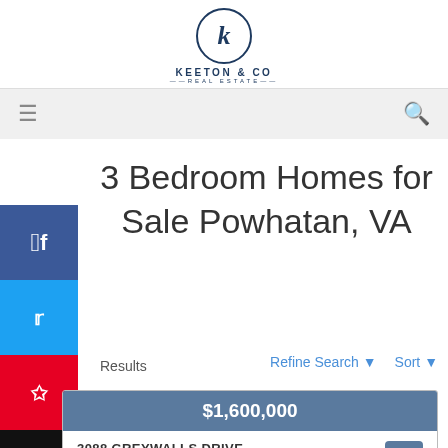[Figure (logo): Keeton & Co Real Estate logo with circular K emblem and company name]
[Figure (screenshot): Navigation bar with hamburger menu icon on left and search icon on right, gray background]
3 Bedroom Homes for Sale Powhatan, VA
Results
Refine Search ▾   Sort ▾
$1,600,000
3088 GREYWALLS DRIVE
POWHATAN, VA 23139